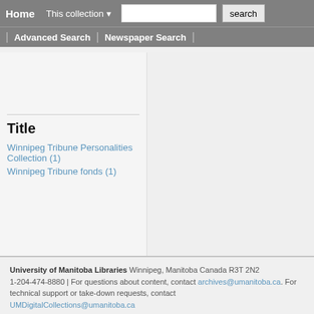Home | This collection ▾ | [search input] | search | Advanced Search | Newspaper Search
Title
Winnipeg Tribune Personalities Collection (1)
Winnipeg Tribune fonds (1)
University of Manitoba Libraries Winnipeg, Manitoba Canada R3T 2N2 1-204-474-8880 | For questions about content, contact archives@umanitoba.ca. For technical support or take-down requests, contact UMDigitalCollections@umanitoba.ca
Powered by Drupal & Islandora | G Select Language ▾